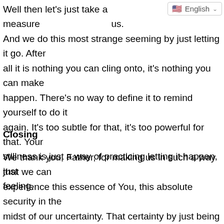Well then let's just take a measure of us. And we do this most strange seeming by just letting it go. After all it is nothing you can cling onto, it's nothing you can make happen. There's no way to define it to remind yourself to do it again. It's too subtle for that, it's too powerful for that. Your stillness is just a way of practicing letting it happen, just feeling.
Closing
We thank you, Father, for making us in such a way that we can experience this essence of You, this absolute security in the midst of our uncertainty. That certainty by just being a living creature of yours, not knowing, truly not knowing what tomorrow will bring, but being secure in that. We thank you for